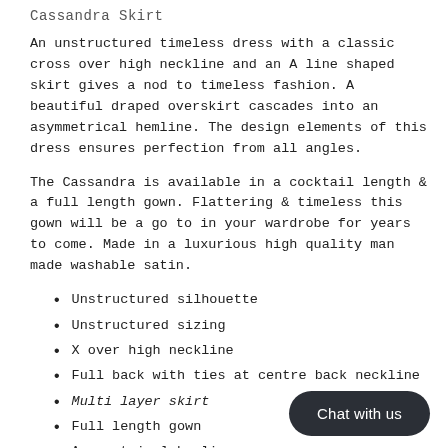Cassandra Skirt
An unstructured timeless dress with a classic cross over high neckline and an A line shaped skirt gives a nod to timeless fashion. A beautiful draped overskirt cascades into an asymmetrical hemline. The design elements of this dress ensures perfection from all angles.
The Cassandra is available in a cocktail length & a full length gown. Flattering & timeless this gown will be a go to in your wardrobe for years to come. Made in a luxurious high quality man made washable satin.
Unstructured silhouette
Unstructured sizing
X over high neckline
Full back with ties at centre back neckline
Multi layer skirt
Full length gown
Asymmetrical hemline
Limited edition - all of the nicolangela gowns are hand cut